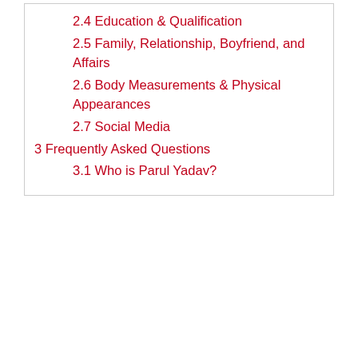2.4 Education & Qualification
2.5 Family, Relationship, Boyfriend, and Affairs
2.6 Body Measurements & Physical Appearances
2.7 Social Media
3 Frequently Asked Questions
3.1 Who is Parul Yadav?